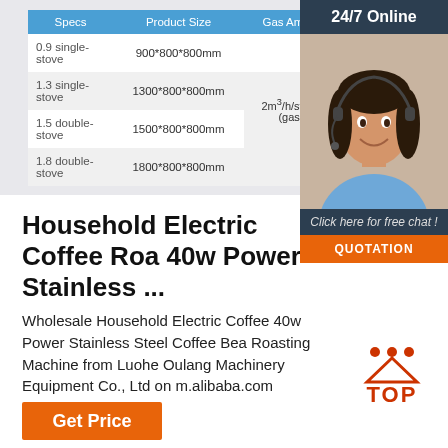| Specs | Product Size | Gas Amout |
| --- | --- | --- |
| 0.9 single-stove | 900*800*800mm |  |
| 1.3 single-stove | 1300*800*800mm | 2m³/h/stove (gas) |
| 1.5 double-stove | 1500*800*800mm |  |
| 1.8 double-stove | 1800*800*800mm |  |
[Figure (photo): Customer service representative wearing headset, smiling. Chat widget with '24/7 Online', 'Click here for free chat!', and 'QUOTATION' button.]
Household Electric Coffee Roa 40w Power Stainless ...
Wholesale Household Electric Coffee 40w Power Stainless Steel Coffee Bea Roasting Machine from Luohe Oulang Machinery Equipment Co., Ltd on m.alibaba.com
[Figure (logo): TOP button with red dots above and bold red TOP text]
Get Price